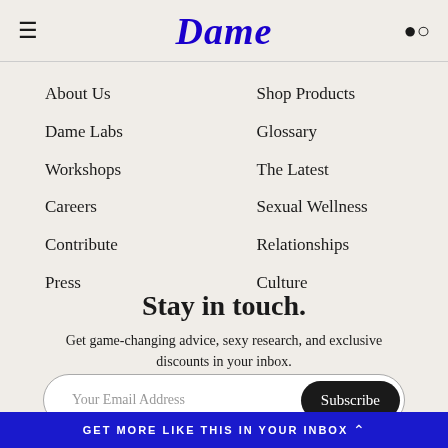Dame
About Us
Shop Products
Dame Labs
Glossary
Workshops
The Latest
Careers
Sexual Wellness
Contribute
Relationships
Press
Culture
Stay in touch.
Get game-changing advice, sexy research, and exclusive discounts in your inbox.
Your Email Address
Subscribe
By clicking "submit," you agree to receive emails from Dame and accept our terms and conditions and privacy policy.
GET MORE LIKE THIS IN YOUR INBOX